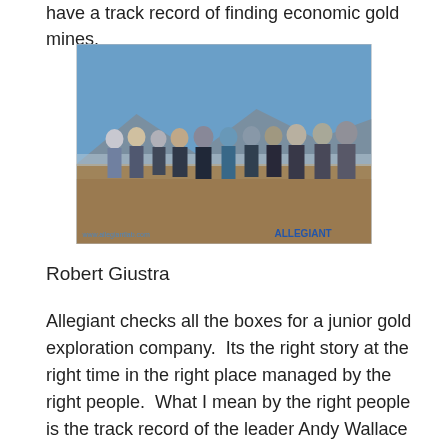have a track record of finding economic gold mines.
[Figure (photo): Group photo of approximately 12 people standing outdoors in a desert landscape with mountains in the background. The image has 'www.allegiantlab.com' watermark on the left and 'ALLEGIANT' branding on the lower right.]
Robert Giustra
Allegiant checks all the boxes for a junior gold exploration company.  Its the right story at the right time in the right place managed by the right people.  What I mean by the right people is the track record of the leader Andy Wallace who is personally responsible for many gold discoveries in Nevada which have became famous gold mines.  His group started out under the leadership of John Livermore and the team currently includes Pete Chapman, who is also credited with some major gold mine discoveries.  This is such an impressive team. I'm just not aware